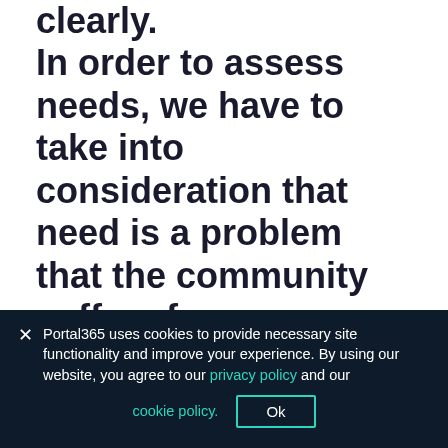clearly. In order to assess needs, we have to take into consideration that need is a problem that the community suffers from, specifically, targeted groups that are children ( boys and girls), young men and women, men and women or it may be a specific group of the population like people with special needs or the poorest groups only. To make it clear, we have to analyze problems in the targeted community.
Portal365 uses cookies to provide necessary site functionality and improve your experience. By using our website, you agree to our privacy policy and our cookie policy. Ok